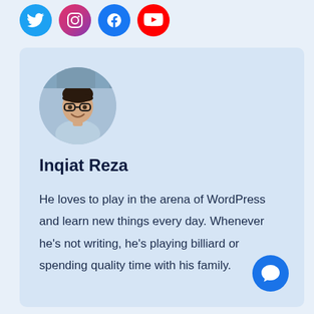[Figure (infographic): Social media icons row: Twitter (blue), Instagram (pink/magenta), Facebook (blue), YouTube (red) — circular icons at top of page]
[Figure (photo): Circular profile photo of Inqiat Reza, a young man with glasses and a smile, wearing a light blue shirt]
Inqiat Reza
He loves to play in the arena of WordPress and learn new things every day. Whenever he's not writing, he's playing billiard or spending quality time with his family.